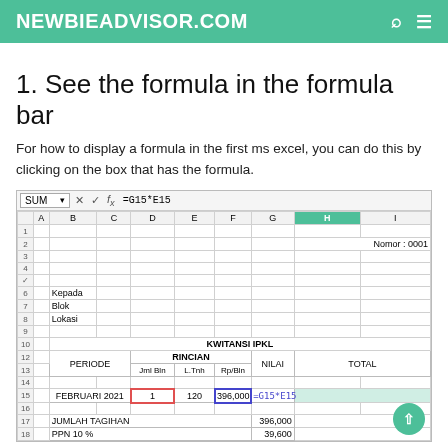NEWBIEADVISOR.COM
1. See the formula in the formula bar
For how to display a formula in the first ms excel, you can do this by clicking on the box that has the formula.
[Figure (screenshot): Microsoft Excel spreadsheet screenshot showing formula bar with =G15*E15 and a KWITANSI IPKL invoice table with columns PERIODE, RINCIAN (Jml Bln, L.Tnh, Rp/Bln), NILAI, TOTAL. Row 15 shows FEBRUARI 2021 with values 1, 120, 396,000 and formula =G15*E15 in NILAI column. Rows 17-18 show JUMLAH TAGIHAN 396,000 and PPN 10% 39,600.]